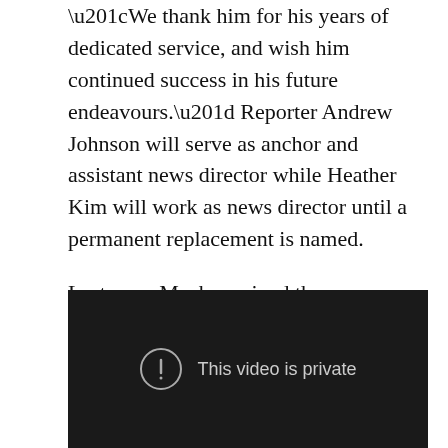“We thank him for his years of dedicated service, and wish him continued success in his future endeavours.” Reporter Andrew Johnson will serve as anchor and assistant news director while Heather Kim will work as news director until a permanent replacement is named.

Last year, Mack received the president’s award from the Radio-Television Digital News Association of Canada.
[Figure (screenshot): Embedded video player showing a dark background with the message 'This video is private' and a circle-exclamation icon.]